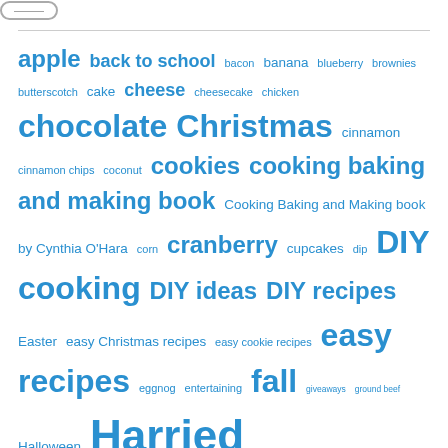[Figure (logo): Website logo button at top left]
apple back to school bacon banana blueberry brownies butterscotch cake cheese cheesecake chicken chocolate Christmas cinnamon cinnamon chips coconut cookies cooking baking and making book Cooking Baking and Making book by Cynthia O'Hara corn cranberry cupcakes dip DIY cooking DIY ideas DIY recipes Easter easy Christmas recipes easy cookie recipes easy recipes eggnog entertaining fall giveaways ground beef Halloween Harried Housewife Recipes WKTV herb holiday holiday recipes ...